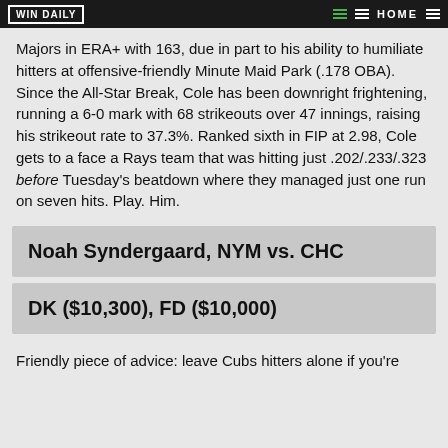WIN DAILY | HOME
Majors in ERA+ with 163, due in part to his ability to humiliate hitters at offensive-friendly Minute Maid Park (.178 OBA). Since the All-Star Break, Cole has been downright frightening, running a 6-0 mark with 68 strikeouts over 47 innings, raising his strikeout rate to 37.3%. Ranked sixth in FIP at 2.98, Cole gets to a face a Rays team that was hitting just .202/.233/.323 before Tuesday's beatdown where they managed just one run on seven hits. Play. Him.
Noah Syndergaard, NYM vs. CHC
DK ($10,300), FD ($10,000)
Friendly piece of advice: leave Cubs hitters alone if you're